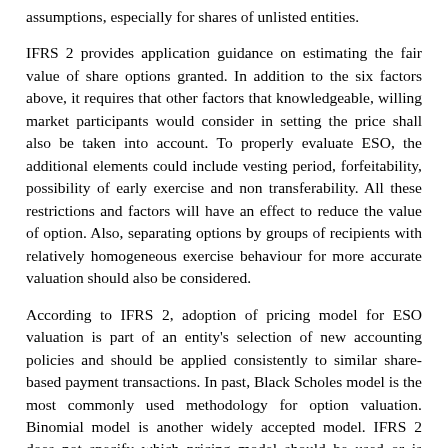assumptions, especially for shares of unlisted entities.
IFRS 2 provides application guidance on estimating the fair value of share options granted. In addition to the six factors above, it requires that other factors that knowledgeable, willing market participants would consider in setting the price shall also be taken into account. To properly evaluate ESO, the additional elements could include vesting period, forfeitability, possibility of early exercise and non transferability. All these restrictions and factors will have an effect to reduce the value of option. Also, separating options by groups of recipients with relatively homogeneous exercise behaviour for more accurate valuation should also be considered.
According to IFRS 2, adoption of pricing model for ESO valuation is part of an entity's selection of new accounting policies and should be applied consistently to similar share-based payment transactions. In past, Black Scholes model is the most commonly used methodology for option valuation. Binomial model is another widely accepted model. IFRS 2 does not specify which pricing model should be used or is preferred. However, it indicates that Black Scholes model could fail to incorporate some unique features for ESO valuation, such as possibility of early exercise and change of expected volatility over the option's life. Comparison of different option pricing models is discussed in